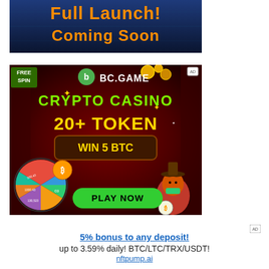[Figure (illustration): Advertisement banner with dark blue background showing orange bold text 'Full Launch! Coming Soon']
[Figure (illustration): BC.GAME crypto casino advertisement with dark red background, green 'FREE SPIN' badge, BC.Game logo, green text 'CRYPTO CASINO', yellow text '20+ TOKEN', brown banner 'WIN 5 BTC', green 'PLAY NOW' button, spin wheel on left, cartoon crocodile on right]
5% bonus to any deposit!
up to 3.59% daily! BTC/LTC/TRX/USDT!
nftpump.ai